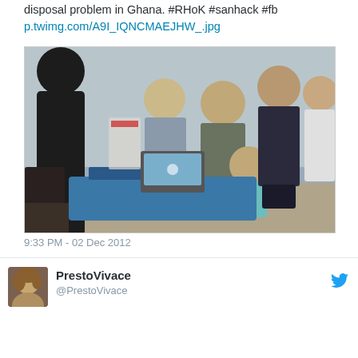disposal problem in Ghana. #RHoK #sanhack #fb
p.twimg.com/A9I_IQNCMAEJHW_.jpg
[Figure (photo): Indoor photo of several people standing in a room, one seated at a laptop on a blue table. The setting appears to be a hackathon or meeting event.]
9:33 PM - 02 Dec 2012
PrestoVivace @PrestoVivace